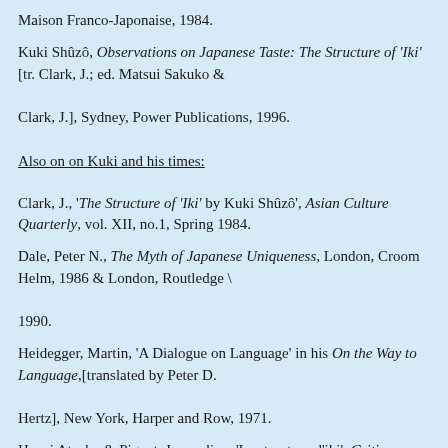Maison Franco-Japonaise, 1984.
Kuki Shûzô, Observations on Japanese Taste: The Structure of 'Iki' [tr. Clark, J.; ed. Matsui Sakuko & Clark, J.], Sydney, Power Publications, 1996.
Also on on Kuki and his times:
Clark, J., 'The Structure of 'Iki' by Kuki Shûzô', Asian Culture Quarterly, vol. XII, no.1, Spring 1984.
Dale, Peter N., The Myth of Japanese Uniqueness, London, Croom Helm, 1986 & London, Routledge \ 1990.
Heidegger, Martin, 'A Dialogue on Language' in his On the Way to Language,[translated by Peter D. Hertz], New York, Harper and Row, 1971.
Hosoi Atsuko & Pigeot, Jacqueline, 'La structure d'iki', Critique,